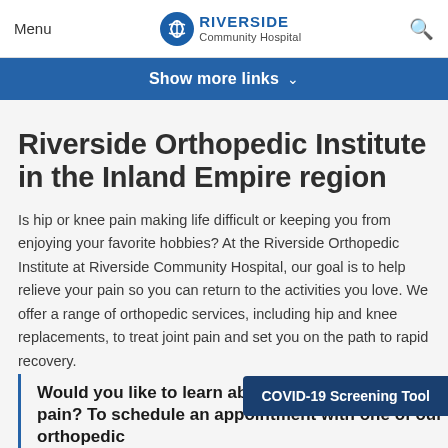Menu | Riverside Community Hospital
Show more links
Riverside Orthopedic Institute in the Inland Empire region
Is hip or knee pain making life difficult or keeping you from enjoying your favorite hobbies? At the Riverside Orthopedic Institute at Riverside Community Hospital, our goal is to help relieve your pain so you can return to the activities you love. We offer a range of orthopedic services, including hip and knee replacements, to treat joint pain and set you on the path to rapid recovery.
Would you like to learn about treatments for joint pain? To schedule an appointment with one of our orthopedic
COVID-19 Screening Tool